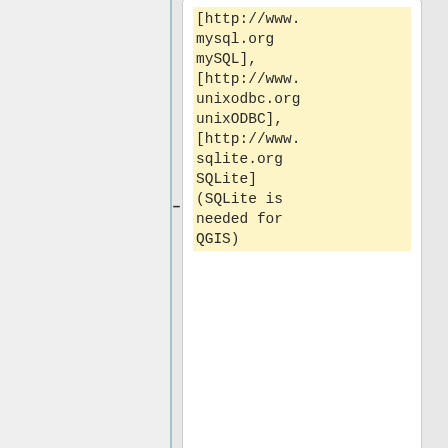mysql.org mySQL], [http://www.unixodbc.org unixODBC], [http://www.sqlite.org SQLite] (SQLite is needed for QGIS)
* [http://www.gdal.org GDAL/OGR] for reading and writing various GIS data formats (interoperab...